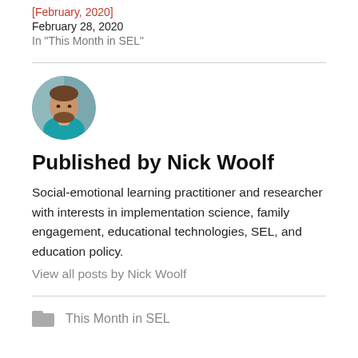[February, 2020]
February 28, 2020
In "This Month in SEL"
[Figure (photo): Circular avatar photo of Nick Woolf, a man with a beard wearing a teal shirt, with a blurred office background.]
Published by Nick Woolf
Social-emotional learning practitioner and researcher with interests in implementation science, family engagement, educational technologies, SEL, and education policy.
View all posts by Nick Woolf
This Month in SEL